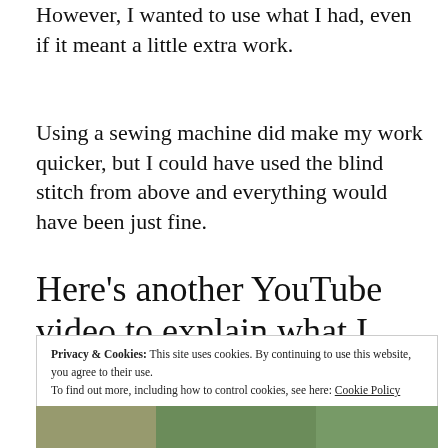However, I wanted to use what I had, even if it meant a little extra work.
Using a sewing machine did make my work quicker, but I could have used the blind stitch from above and everything would have been just fine.
Here’s another YouTube video to explain what I did.
Privacy & Cookies: This site uses cookies. By continuing to use this website, you agree to their use.
To find out more, including how to control cookies, see here: Cookie Policy
Close and accept
[Figure (photo): Bottom strip showing a person against a green background]